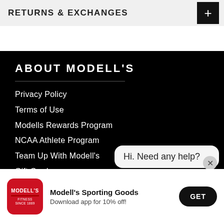RETURNS & EXCHANGES
ABOUT MODELL'S
Privacy Policy
Terms of Use
Modells Rewards Program
NCAA Athlete Program
Team Up With Modell's
Gift Cards
Affiliate Program Partnership
Hi. Need any help?
[Figure (logo): Modell's Sporting Goods app icon - red rounded square with white logo text]
Modell's Sporting Goods
Download app for 10% off!
GET